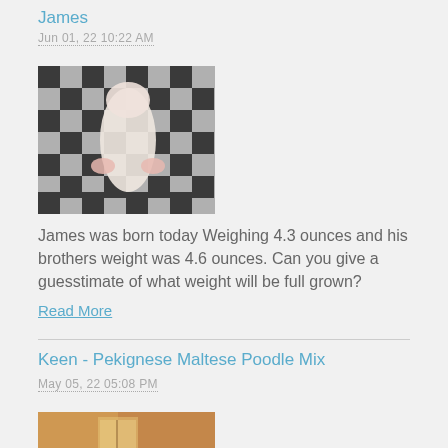James
Jun 01, 22 10:22 AM
[Figure (photo): Newborn puppy lying on a black and white checkered blanket, seen from above, very small and pink]
James was born today Weighing 4.3 ounces and his brothers weight was 4.6 ounces. Can you give a guesstimate of what weight will be full grown?
Read More
Keen - Pekignese Maltese Poodle Mix
May 05, 22 05:08 PM
[Figure (photo): Small fluffy dog near a window with warm/golden lighting, indoors]